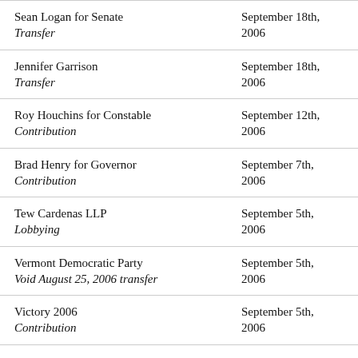| Recipient / Type | Date | Amount |
| --- | --- | --- |
| Sean Logan for Senate
Transfer | September 18th, 2006 | $10,000 |
| Jennifer Garrison
Transfer | September 18th, 2006 | $2,500 |
| Roy Houchins for Constable
Contribution | September 12th, 2006 | $500 |
| Brad Henry for Governor
Contribution | September 7th, 2006 | $4,000 |
| Tew Cardenas LLP
Lobbying | September 5th, 2006 | $7,500 |
| Vermont Democratic Party
Void August 25, 2006 transfer | September 5th, 2006 | $-5,000 |
| Victory 2006
Contribution | September 5th, 2006 |  |